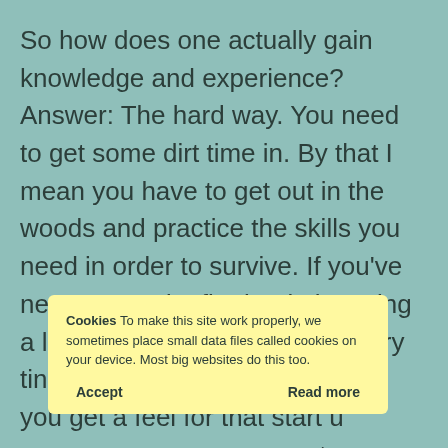So how does one actually gain knowledge and experience?  Answer:  The hard way.  You need to get some dirt time in.  By that I mean you have to get out in the woods and practice the skills you need in order to survive.  If you've never started a fire begin by using a lighter and some paper with dry tinder stacked on top of it.  Once you get a feel for that start [using] [those] [techniques] for your [tinder] [material] [that] you've [mastered, build] [up your skill l]el and [eventually use dry grass or other tinder] to catch a spark.  (Hint:  cat tail fluff works great for this)
Cookies To make this site work properly, we sometimes place small data files called cookies on your device. Most big websites do this too.